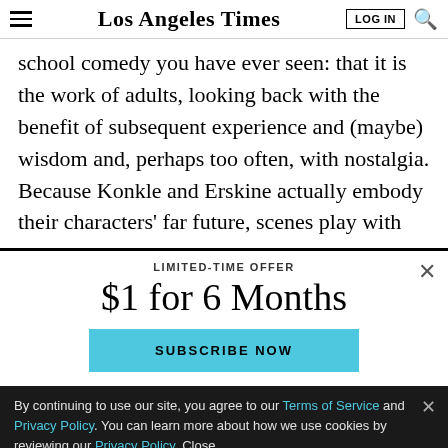Los Angeles Times
school comedy you have ever seen: that it is the work of adults, looking back with the benefit of subsequent experience and (maybe) wisdom and, perhaps too often, with nostalgia. Because Konkle and Erskine actually embody their characters' far future, scenes play with
LIMITED-TIME OFFER
$1 for 6 Months
SUBSCRIBE NOW
By continuing to use our site, you agree to our Terms of Service and Privacy Policy. You can learn more about how we use cookies by reviewing our Privacy Policy. Close